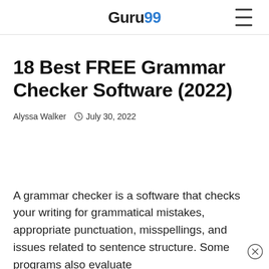Guru99
18 Best FREE Grammar Checker Software (2022)
Alyssa Walker   July 30, 2022
A grammar checker is a software that checks your writing for grammatical mistakes, appropriate punctuation, misspellings, and issues related to sentence structure. Some programs also evaluate